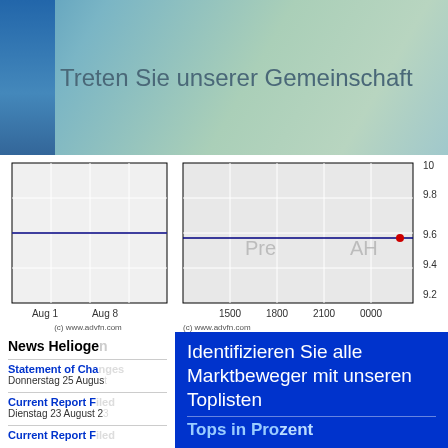Treten Sie unserer Gemeinschaft bei
[Figure (line-chart): Weekly stock chart showing Aug 1 to Aug 8 with a flat blue line around 9.6 level. Source: (c) www.advfn.com]
[Figure (line-chart): Intraday stock chart showing times 1500 to 0000 with a flat blue line around 9.6 and a red dot near AH label. Y-axis: 9.2 to 10. Labels: Pre, AH. Source: (c) www.advfn.com]
News Heliogen
Statement of Changes in Beneficial Ownership
Donnerstag 25 August
Current Report Filed Under Sections
Dienstag 23 August
Current Report Filed
Identifizieren Sie alle Marktbeweger mit unseren Toplisten
Tops in Prozent